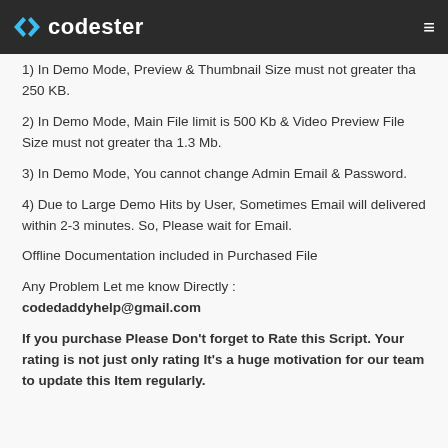codester
1) In Demo Mode, Preview & Thumbnail Size must not greater tha 250 KB.
2) In Demo Mode, Main File limit is 500 Kb & Video Preview File Size must not greater tha 1.3 Mb.
3) In Demo Mode, You cannot change Admin Email & Password.
4) Due to Large Demo Hits by User, Sometimes Email will delivered within 2-3 minutes. So, Please wait for Email.
Offline Documentation included in Purchased File
Any Problem Let me know Directly : codedaddyhelp@gmail.com
If you purchase Please Don't forget to Rate this Script. Your rating is not just only rating It's a huge motivation for our team to update this Item regularly.